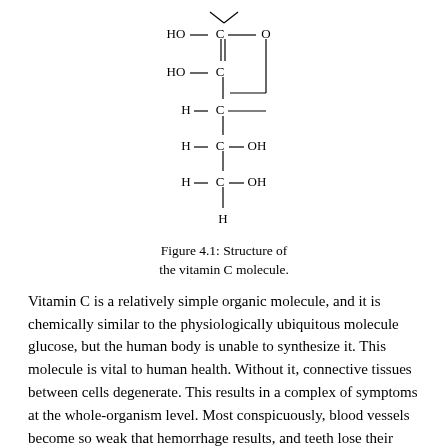[Figure (schematic): Chemical structural diagram of Vitamin C (ascorbic acid) molecule showing a chain of carbon atoms with hydroxyl groups and a lactone ring: HO-C(=O)-C(OH)=C-H-C connected via a ring to O, then H-C-OH and H-C-OH, ending in H at the bottom.]
Figure 4.1: Structure of the vitamin C molecule.
Vitamin C is a relatively simple organic molecule, and it is chemically similar to the physiologically ubiquitous molecule glucose, but the human body is unable to synthesize it. This molecule is vital to human health. Without it, connective tissues between cells degenerate. This results in a complex of symptoms at the whole-organism level. Most conspicuously, blood vessels become so weak that hemorrhage results, and teeth lose their strength and become diseased.
Adult patients suffering from scurvy complain of